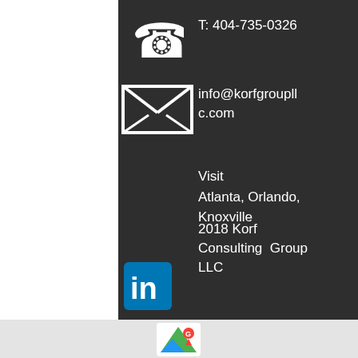[Figure (infographic): White telephone/phone handset icon on dark background]
T: 404-735-0326
[Figure (infographic): White envelope/email icon on dark background]
info@korfgroupllc.com
Visit
Atlanta, Orlando, Knoxville
2018 Korf Consulting Group LLC
[Figure (logo): LinkedIn blue square logo with white 'in' text]
[Figure (logo): Google Maps icon with G and location pin on light background]